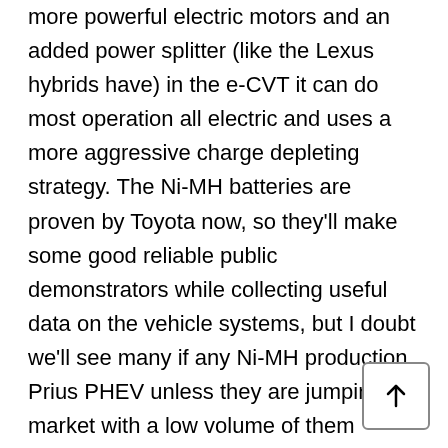more powerful electric motors and an added power splitter (like the Lexus hybrids have) in the e-CVT it can do most operation all electric and uses a more aggressive charge depleting strategy. The Ni-MH batteries are proven by Toyota now, so they'll make some good reliable public demonstrators while collecting useful data on the vehicle systems, but I doubt we'll see many if any Ni-MH production Prius PHEV unless they are jumping the market with a low volume of them earlier than expected. High-volume higher range Prius PHEVs would almost certainly use lithium-ion, but that is probably 2 years off since they've backed off cobalt chemistries and are now working on something else apparently. I'd watch for